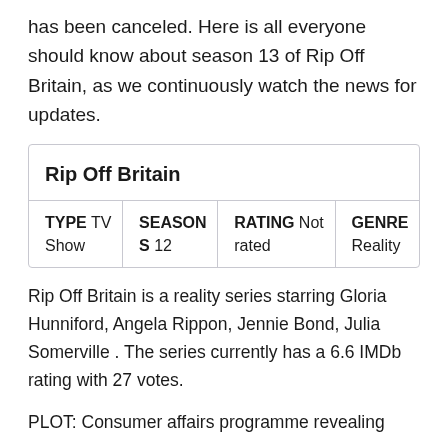has been canceled. Here is all everyone should know about season 13 of Rip Off Britain, as we continuously watch the news for updates.
| TYPE | SEASON | RATING | GENRE |
| --- | --- | --- | --- |
| TV Show | S 12 | Not rated | Reality |
Rip Off Britain is a reality series starring Gloria Hunniford, Angela Rippon, Jennie Bond, Julia Somerville . The series currently has a 6.6 IMDb rating with 27 votes.
PLOT: Consumer affairs programme revealing